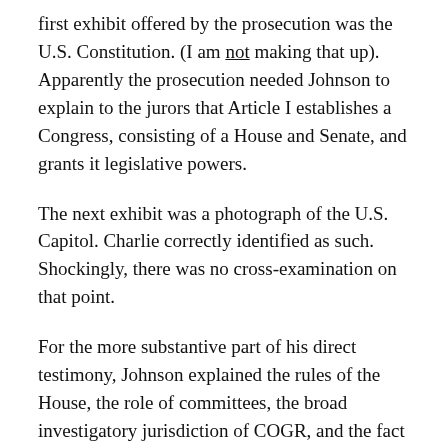first exhibit offered by the prosecution was the U.S. Constitution. (I am not making that up). Apparently the prosecution needed Johnson to explain to the jurors that Article I establishes a Congress, consisting of a House and Senate, and grants it legislative powers.
The next exhibit was a photograph of the U.S. Capitol. Charlie correctly identified as such. Shockingly, there was no cross-examination on that point.
For the more substantive part of his direct testimony, Johnson explained the rules of the House, the role of committees, the broad investigatory jurisdiction of COGR, and the fact that it has been granted deposition authority by the House. Pretty much what I expected.
Johnson specifically described COGR's investigatory jurisdiction as uniquely broad among House